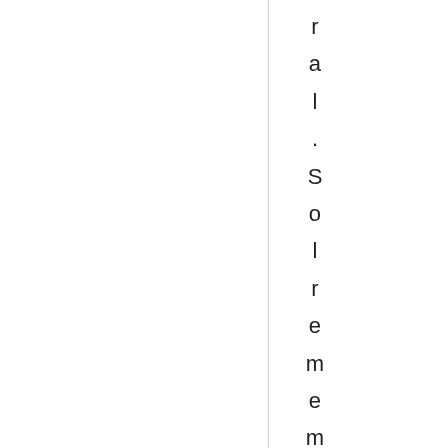ral .Sol remembertheshad nesst hat o